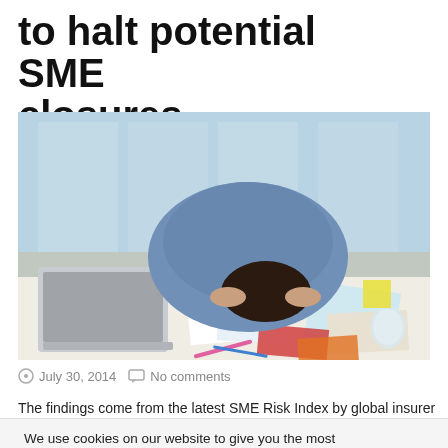to halt potential SME closures
[Figure (photo): Person with head down on desk surrounded by papers and laptop, appearing stressed]
July 30, 2014   No comments
The findings come from the latest SME Risk Index by global insurer
We use cookies on our website to give you the most relevant experience by remembering your preferences and repeat visits. By clicking “Accept”, you consent to the use of ALL the cookies.
Privacy & Cookies Policy